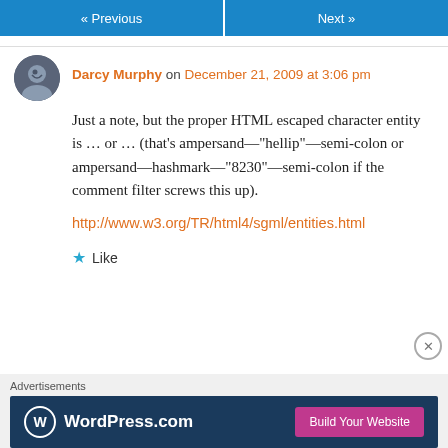« Previous   Next »
Darcy Murphy on December 21, 2009 at 3:06 pm
Just a note, but the proper HTML escaped character entity is … or … (that's ampersand—"hellip"—semi-colon or ampersand—hashmark—"8230"—semi-colon if the comment filter screws this up).
http://www.w3.org/TR/html4/sgml/entities.html
Like
Advertisements
WordPress.com  Build Your Website